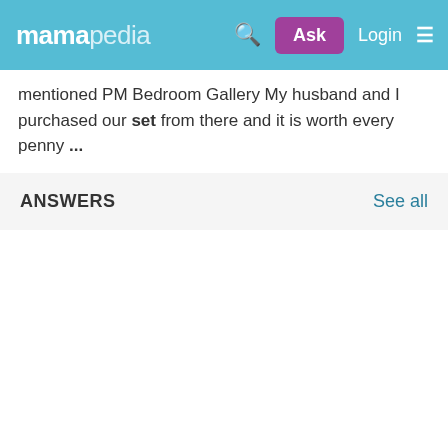mamapedia — Ask  Login ☰
mentioned PM Bedroom Gallery My husband and I purchased our set from there and it is worth every penny ...
ANSWERS    See all